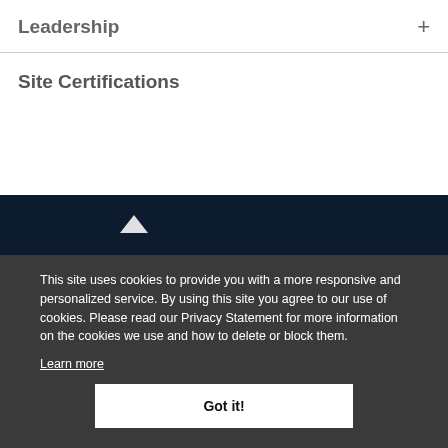Leadership
Site Certifications
This site uses cookies to provide you with a more responsive and personalized service. By using this site you agree to our use of cookies. Please read our Privacy Statement for more information on the cookies we use and how to delete or block them.
Learn more
Got it!